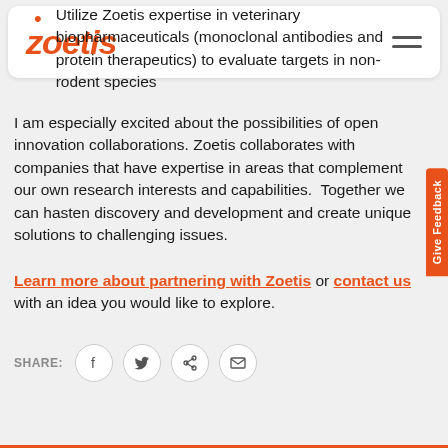zoetis
Utilize Zoetis expertise in veterinary biopharmaceuticals (monoclonal antibodies and protein therapeutics) to evaluate targets in non-rodent species
I am especially excited about the possibilities of open innovation collaborations. Zoetis collaborates with companies that have expertise in areas that complement our own research interests and capabilities. Together we can hasten discovery and development and create unique solutions to challenging issues.
Learn more about partnering with Zoetis or contact us with an idea you would like to explore.
SHARE: